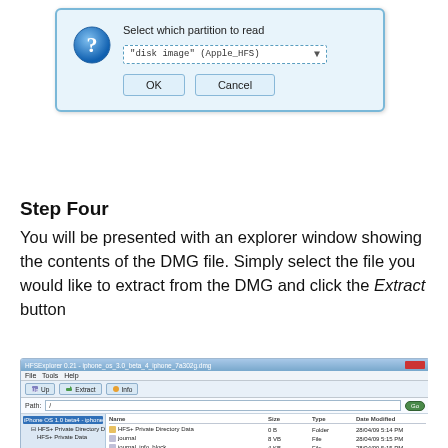[Figure (screenshot): Windows dialog box titled 'Select which partition to read' with a blue question mark icon, a dropdown showing '"disk image" (Apple_HFS)', and OK/Cancel buttons]
Step Four
You will be presented with an explorer window showing the contents of the DMG file. Simply select the file you would like to extract from the DMG and click the Extract button
[Figure (screenshot): HFSExplorer 0.21 application window showing iPhone OS 3.0 beta 4 DMG file contents with a tree view on the left and file listing on the right including HFS+ Private Directory Data, journal, journal_info_block, iPhone_3_2_0_7A532q_Restore.ipsw, and HFS+ Private Data]